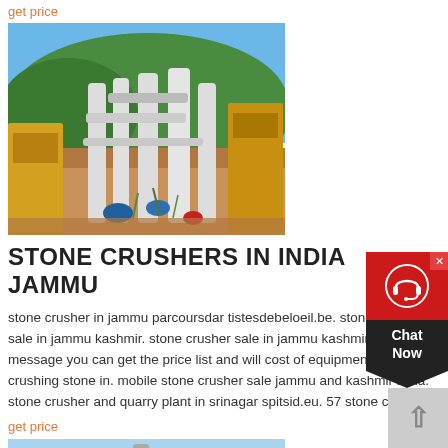get price
[Figure (photo): Outdoor photograph of stone crusher industrial machinery with white cylindrical equipment, yellow construction machines, orange gravel/sand and green hillside in background under blue sky]
STONE CRUSHERS IN INDIA JAMMU
stone crusher in jammu parcoursdar tistesdebeloeil.be. stone crusher sale in jammu kashmir. stone crusher sale in jammu kashmirsend a message you can get the price list and will cost of equipment for crushing stone in. mobile stone crusher sale jammu and kashmir india. stone crusher and quarry plant in srinagar spitsid.eu. 57 stone crushers
get price
[Figure (photo): Partial photograph showing bottom portion of stone crusher machinery with light blue sky background]
[Figure (other): Chat Now widget with red background, headset icon, dark chevron shape and Chat Now text label, with X close button]